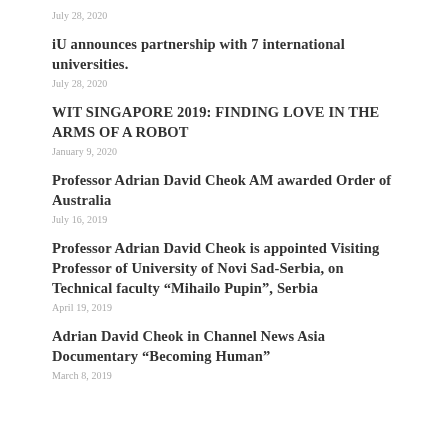July 28, 2020
iU announces partnership with 7 international universities.
July 28, 2020
WIT SINGAPORE 2019: FINDING LOVE IN THE ARMS OF A ROBOT
January 9, 2020
Professor Adrian David Cheok AM awarded Order of Australia
July 16, 2019
Professor Adrian David Cheok is appointed Visiting Professor of University of Novi Sad-Serbia, on Technical faculty “Mihailo Pupin”, Serbia
April 19, 2019
Adrian David Cheok in Channel News Asia Documentary “Becoming Human”
March 8, 2019